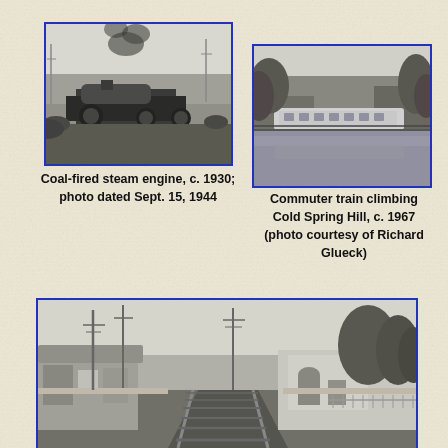[Figure (photo): Black and white photo of a coal-fired steam engine, c. 1930, with smoke rising, dated Sept. 15, 1944]
Coal-fired steam engine, c. 1930; photo dated Sept. 15, 1944
[Figure (photo): Black and white photo of a commuter train climbing Cold Spring Hill, c. 1967, photo courtesy of Richard Glueck]
Commuter train climbing Cold Spring Hill, c. 1967 (photo courtesy of Richard Glueck)
[Figure (photo): Black and white photo of a historic train station platform with railroad tracks and utility poles]